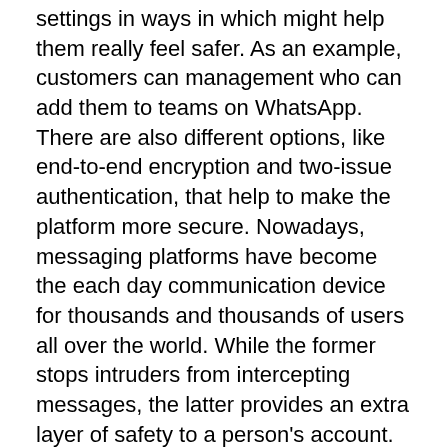settings in ways in which might help them really feel safer. As an example, customers can management who can add them to teams on WhatsApp. There are also different options, like end-to-end encryption and two-issue authentication, that help to make the platform more secure. Nowadays, messaging platforms have become the each day communication device for thousands and thousands of users all over the world. While the former stops intruders from intercepting messages, the latter provides an extra layer of safety to a person's account. WhatsApp has over two billion lively users with folks utilizing the platform to stay in contact with mates and beloved ones, in addition to managing their assignments or professional deadlines. However, managing all these items in one place will be tough, and hiding the final seen status from others on WhatsApp may help to concentrate on one process at a time. The 'Last Seen' or 'Online' status lets others know the last the person was on WhatsApp and if the person is currently online.